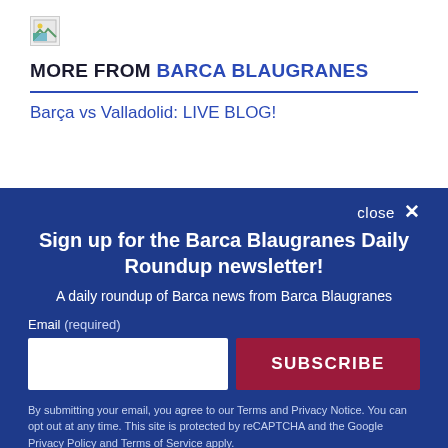[Figure (other): Broken/missing image icon in top left]
MORE FROM BARCA BLAUGRANES
Barça vs Valladolid: LIVE BLOG!
close ×
Sign up for the Barca Blaugranes Daily Roundup newsletter!
A daily roundup of Barca news from Barca Blaugranes
Email (required)
SUBSCRIBE
By submitting your email, you agree to our Terms and Privacy Notice. You can opt out at any time. This site is protected by reCAPTCHA and the Google Privacy Policy and Terms of Service apply.